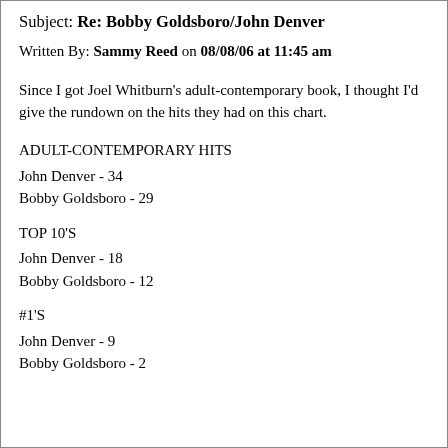Subject: Re: Bobby Goldsboro/John Denver
Written By: Sammy Reed on 08/08/06 at 11:45 am
Since I got Joel Whitburn's adult-contemporary book, I thought I'd give the rundown on the hits they had on this chart.
ADULT-CONTEMPORARY HITS
John Denver - 34
Bobby Goldsboro - 29
TOP 10'S
John Denver - 18
Bobby Goldsboro - 12
#1'S
John Denver - 9
Bobby Goldsboro - 2